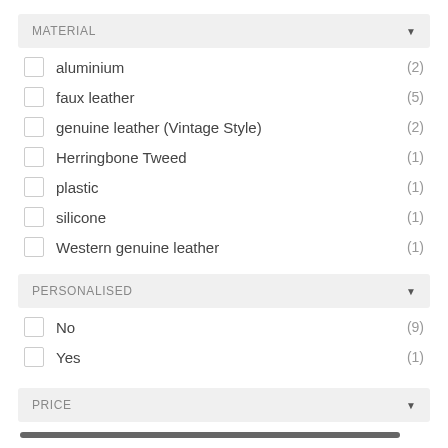MATERIAL
aluminium (2)
faux leather (5)
genuine leather (Vintage Style) (2)
Herringbone Tweed (1)
plastic (1)
silicone (1)
Western genuine leather (1)
PERSONALISED
No (9)
Yes (1)
PRICE